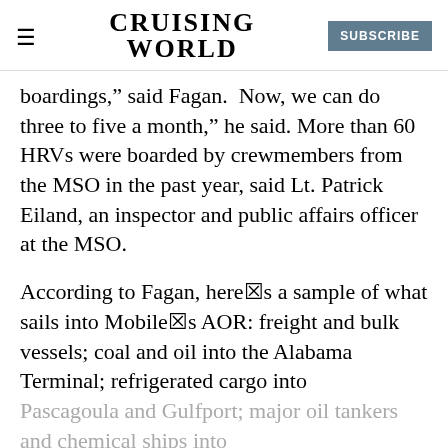CRUISING WORLD | SUBSCRIBE
boardings," said Fagan.  Now, we can do three to five a month," he said. More than 60 HRVs were boarded by crewmembers from the MSO in the past year, said Lt. Patrick Eiland, an inspector and public affairs officer at the MSO.
According to Fagan, hereís a sample of what sails into Mobileís AOR: freight and bulk vessels; coal and oil into the Alabama Terminal; refrigerated cargo into
Pascagoula and Gulfport; major oil tankers and chemical ships into